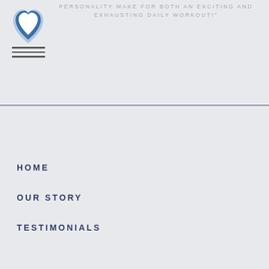[Figure (logo): Heart-shaped logo with blue and white layered heart design]
PERSONALITY MAKE FOR BOTH AN EXCITING AND EXHAUSTING DAILY WORKOUT!"
[Figure (other): Hamburger menu icon with three horizontal lines]
HOME
OUR STORY
TESTIMONIALS